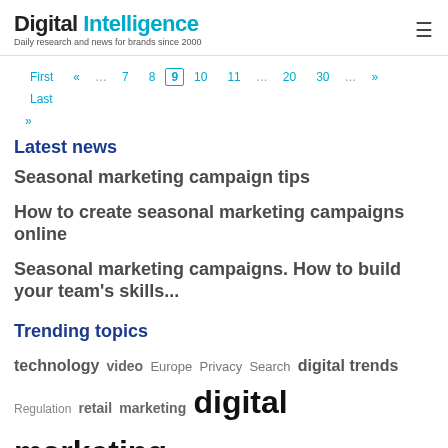Digital Intelligence — Daily research and news for brands since 2000
First « … 7 8 9 10 11 … 20 30 … » Last »
Latest news
Seasonal marketing campaign tips
How to create seasonal marketing campaigns online
Seasonal marketing campaigns. How to build your team's skills...
Trending topics
technology video Europe Privacy Search digital trends Regulation retail marketing digital marketing Facebook sport FMCG digital skills Amazon email global media content brands Google